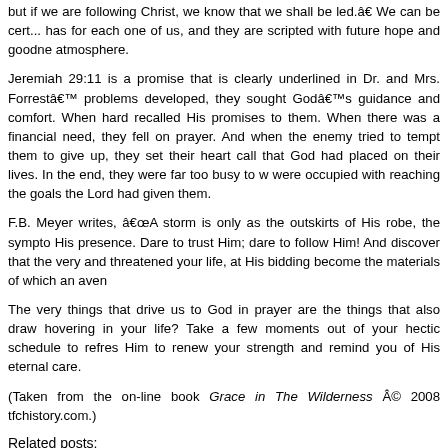but if we are following Christ, we know that we shall be led.â€ We can be certain of the plans He has for each one of us, and they are scripted with future hope and goodness... atmosphere.
Jeremiah 29:11 is a promise that is clearly underlined in Dr. and Mrs. Forrestâ€™s lives. When problems developed, they sought Godâ€™s guidance and comfort. When hardships came, they recalled His promises to them. When there was a financial need, they fell on their knees in prayer. And when the enemy tried to tempt them to give up, they set their hearts on the divine call that God had placed on their lives. In the end, they were far too busy to worry because they were occupied with reaching the goals the Lord had given them.
F.B. Meyer writes, â€œA storm is only as the outskirts of His robe, the symptoms of His presence. Dare to trust Him; dare to follow Him! And discover that the very things that battered and threatened your life, at His bidding become the materials of which an avenue...
The very things that drive us to God in prayer are the things that also draw us closer to Him. hovering in your life? Take a few moments out of your hectic schedule to refresh yourself in Him to renew your strength and remind you of His eternal care.
(Taken from the on-line book Grace in The Wilderness Â© 2008 tfchistory.com.)
Related posts:
June 9, 2008   Back on Track with God If you stop and think...
June 16, 2008   Staying the Course Do you have what it takes to...
June 22, 2008   Iâ€™m Glad I Listened JESUS'S FIRST MIRACLE is...